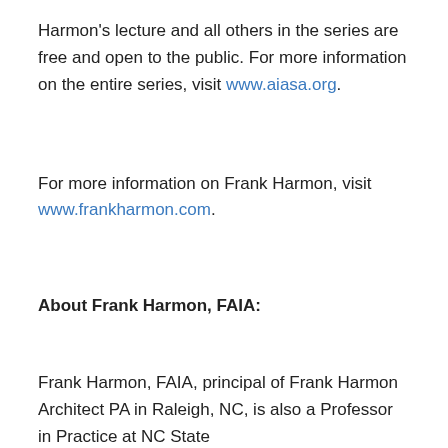Harmon's lecture and all others in the series are free and open to the public. For more information on the entire series, visit www.aiasa.org.
For more information on Frank Harmon, visit www.frankharmon.com.
About Frank Harmon, FAIA:
Frank Harmon, FAIA, principal of Frank Harmon Architect PA in Raleigh, NC, is also a Professor in Practice at NC State